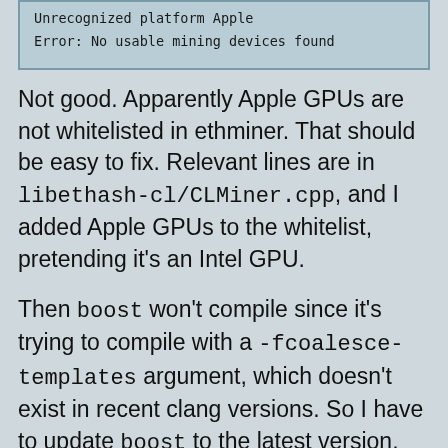Unrecognized platform Apple
Error: No usable mining devices found
Not good. Apparently Apple GPUs are not whitelisted in ethminer. That should be easy to fix. Relevant lines are in libethash-cl/CLMiner.cpp, and I added Apple GPUs to the whitelist, pretending it's an Intel GPU.
Then boost won't compile since it's trying to compile with a -fcoalesce-templates argument, which doesn't exist in recent clang versions. So I have to update boost to the latest version, and fix relevant asio code